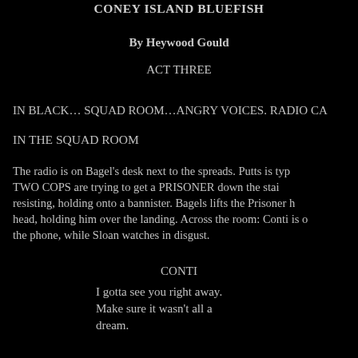CONEY ISLAND BLUEFISH
By Heywood Gould
ACT THREE
IN BLACK… SQUAD ROOM…ANGRY VOICES. RADIO CA
IN THE SQUAD ROOM
The radio is on Bagel's desk next to the spreads. Putts is typing. TWO COPS are trying to get a PRISONER down the stairs, resisting, holding onto a bannister. Bagels lifts the Prisoner by the head, holding him over the landing. Across the room: Conti is on the phone, while Sloan watches in disgust.
CONTI
I gotta see you right away.
Make sure it wasn't all a
dream.